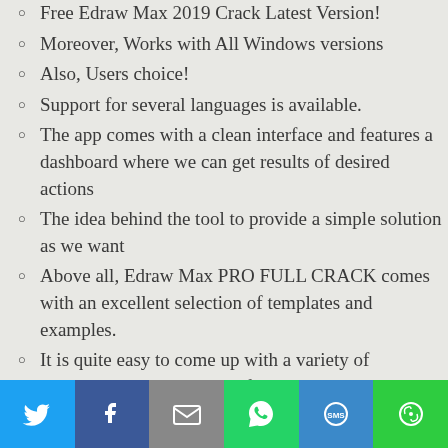Free Edraw Max 2019 Crack Latest Version!
Moreover, Works with All Windows versions
Also, Users choice!
Support for several languages is available.
The app comes with a clean interface and features a dashboard where we can get results of desired actions
The idea behind the tool to provide a simple solution as we want
Above all, Edraw Max PRO FULL CRACK comes with an excellent selection of templates and examples.
It is quite easy to come up with a variety of diagrams. Choose a theme for the
[Figure (infographic): Social sharing bar with icons for Twitter, Facebook, Email, WhatsApp, SMS, and More]